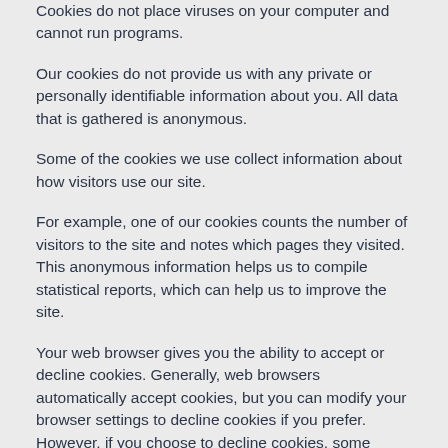Cookies do not place viruses on your computer and cannot run programs.
Our cookies do not provide us with any private or personally identifiable information about you. All data that is gathered is anonymous.
Some of the cookies we use collect information about how visitors use our site.
For example, one of our cookies counts the number of visitors to the site and notes which pages they visited. This anonymous information helps us to compile statistical reports, which can help us to improve the site.
Your web browser gives you the ability to accept or decline cookies. Generally, web browsers automatically accept cookies, but you can modify your browser settings to decline cookies if you prefer. However, if you choose to decline cookies, some useful features of this website will not work.
For example, there is the option to view this website as text only, with no graphics. The 'useTextOnly' and 'set String' cookies remember that you have chosen to view this site with no graphics. If you choose to decline cookies, this option will be unavailable to you.